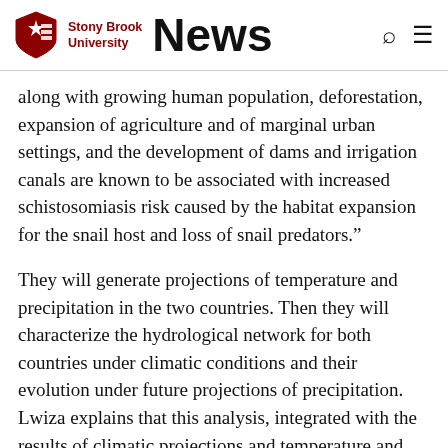Stony Brook University News
along with growing human population, deforestation, expansion of agriculture and of marginal urban settings, and the development of dams and irrigation canals are known to be associated with increased schistosomiasis risk caused by the habitat expansion for the snail host and loss of snail predators.”
They will generate projections of temperature and precipitation in the two countries. Then they will characterize the hydrological network for both countries under climatic conditions and their evolution under future projections of precipitation. Lwiza explains that this analysis, integrated with the results of climatic projections and temperature and precipitation, will enable the researchers to make inferences on the seasonal presence of water and